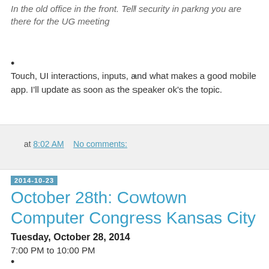In the old office in the front. Tell security in parkng you are there for the UG meeting
Touch, UI interactions, inputs, and what makes a good mobile app. I'll update as soon as the speaker ok's the topic.
at 8:02 AM   No comments:
2014-10-23
October 28th: Cowtown Computer Congress Kansas City
Tuesday, October 28, 2014
7:00 PM to 10:00 PM